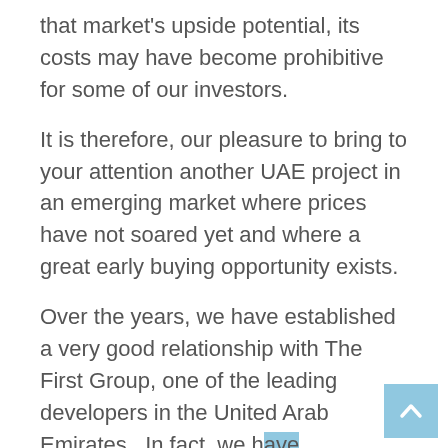that market's upside potential, its costs may have become prohibitive for some of our investors.
It is therefore, our pleasure to bring to your attention another UAE project in an emerging market where prices have not soared yet and where a great early buying opportunity exists.
Over the years, we have established a very good relationship with The First Group, one of the leading developers in the United Arab Emirates.  In fact, we have represented them in five previous